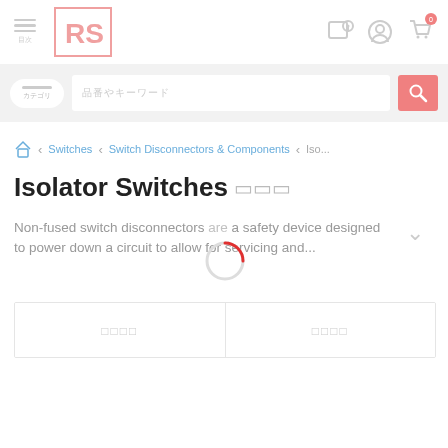RS Components website header with logo, navigation icons
Search bar with category pill and search input
Switches > Switch Disconnectors & Components > Iso...
Isolator Switches
Non-fused switch disconnectors are a safety device designed to power down a circuit to allow for servicing and...
| [Japanese] | [Japanese] |